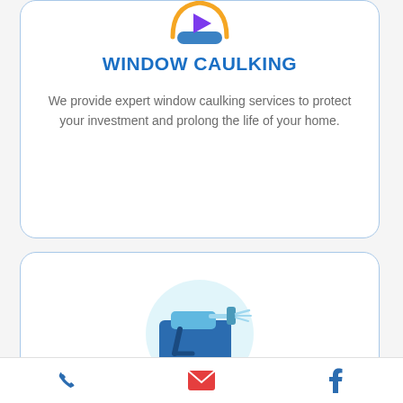[Figure (illustration): Circular icon with orange ring and blue/purple play button style icon at top of first card, partially visible]
WINDOW CAULKING
We provide expert window caulking services to protect your investment and prolong the life of your home.
[Figure (illustration): Circular light blue illustration showing a caulking gun applying caulk on a blue surface, inside second card]
[Figure (illustration): Bottom navigation bar with phone icon (blue), mail/envelope icon (red/orange), and Facebook icon (blue)]